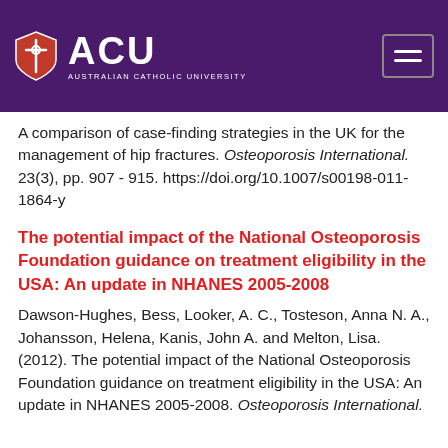ACU AUSTRALIAN CATHOLIC UNIVERSITY
A comparison of case-finding strategies in the UK for the management of hip fractures. Osteoporosis International. 23(3), pp. 907 - 915. https://doi.org/10.1007/s00198-011-1864-y
The potential impact of the National Osteoporosis Foundation guidance on treatment eligibility in the USA: An update in NHANES 2005-2008
Dawson-Hughes, Bess, Looker, A. C., Tosteson, Anna N. A., Johansson, Helena, Kanis, John A. and Melton, Lisa. (2012). The potential impact of the National Osteoporosis Foundation guidance on treatment eligibility in the USA: An update in NHANES 2005-2008. Osteoporosis International.